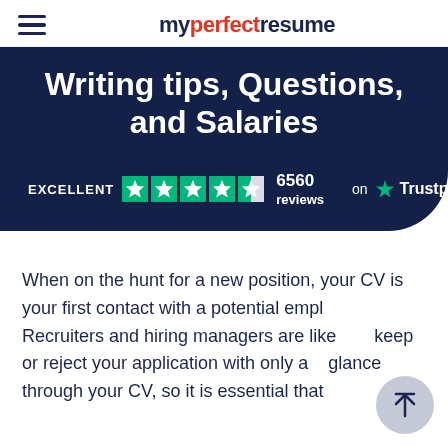myperfectresume
Writing tips, Questions, and Salaries
EXCELLENT  6560 reviews  on Trustpilot
When on the hunt for a new position, your CV is your first contact with a potential employer. Recruiters and hiring managers are likely to keep or reject your application with only a glance through your CV, so it is essential that